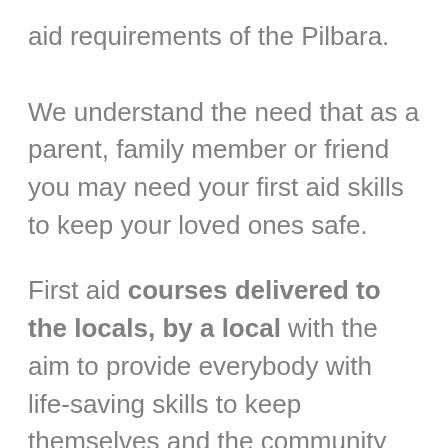aid requirements of the Pilbara.
We understand the need that as a parent, family member or friend you may need your first aid skills to keep your loved ones safe.
First aid courses delivered to the locals, by a local with the aim to provide everybody with life-saving skills to keep themselves and the community safe.